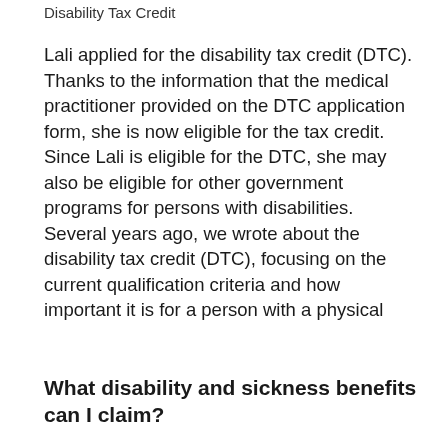Disability Tax Credit
Lali applied for the disability tax credit (DTC). Thanks to the information that the medical practitioner provided on the DTC application form, she is now eligible for the tax credit. Since Lali is eligible for the DTC, she may also be eligible for other government programs for persons with disabilities. Several years ago, we wrote about the disability tax credit (DTC), focusing on the current qualification criteria and how important it is for a person with a physical
What disability and sickness benefits can I claim?